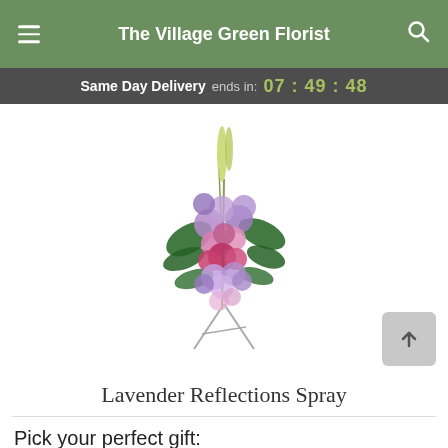The Village Green Florist
Same Day Delivery ends in: 07 : 49 : 48
[Figure (photo): Lavender Reflections Spray floral arrangement on a stand, featuring purple and pink flowers including gladioli, roses, and hydrangeas, displayed on a silver easel stand.]
Lavender Reflections Spray
Pick your perfect gift: